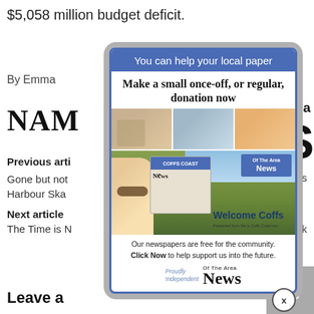$5,058 million budget deficit.
By Emma
NAM
e Area
NS
Previous arti
Gone but not
Harbour Ska
Coffs
Next article
The Time is N
e Week
[Figure (screenshot): A modal popup advertisement overlay on a news website. Header reads 'You can help your local paper'. Subtitle 'Make a small once-off, or regular, donation now'. Photos of people reading newspapers. Bottom shows 'Welcome Coffs'. Footer text: 'Our newspapers are free for the community. Click Now to help support us into the future.' Logo: 'News Of The Area'. Proudly Independent text. An X close button at bottom right.]
Leave a
TOP